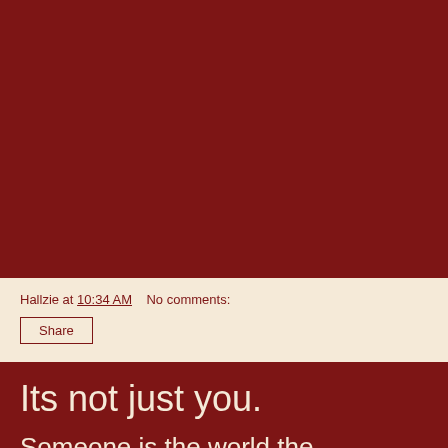Hallzie at 10:34 AM    No comments:
Share
Its not just you.
Someone is the world the...